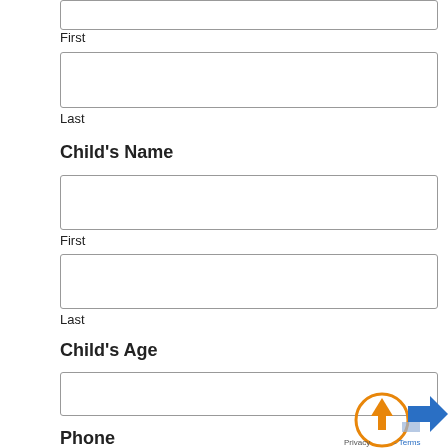[Figure (other): Empty form input box for First name field (top, partial)]
First
[Figure (other): Empty form input box for Last name field]
Last
Child's Name
[Figure (other): Empty form input box for Child First name]
First
[Figure (other): Empty form input box for Child Last name]
Last
Child's Age
[Figure (other): Empty form input box for Child Age]
Phone
[Figure (other): Empty form input box for Phone (partial at bottom)]